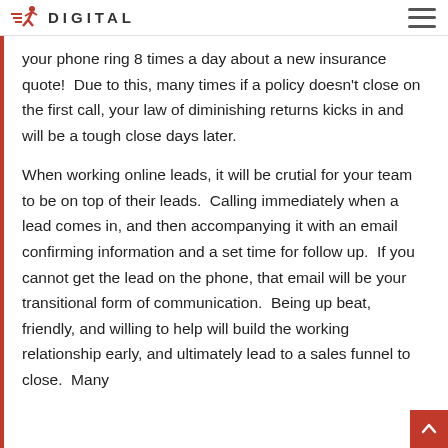DIGITAL
your phone ring 8 times a day about a new insurance quote!  Due to this, many times if a policy doesn't close on the first call, your law of diminishing returns kicks in and will be a tough close days later.
When working online leads, it will be crutial for your team to be on top of their leads.  Calling immediately when a lead comes in, and then accompanying it with an email confirming information and a set time for follow up.  If you cannot get the lead on the phone, that email will be your transitional form of communication.  Being up beat, friendly, and willing to help will build the working relationship early, and ultimately lead to a sales funnel to close.  Many